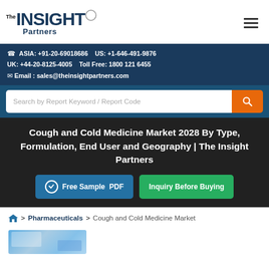[Figure (logo): The Insight Partners logo with circular P graphic]
ASIA: +91-20-69018686    US: +1-646-491-9876
UK: +44-20-8125-4005    Toll Free: 1800 121 6455
Email : sales@theinsightpartners.com
[Figure (screenshot): Search bar with placeholder 'Search by Report Keyword / Report Code' and orange search button]
Cough and Cold Medicine Market 2028 By Type, Formulation, End User and Geography | The Insight Partners
Free Sample PDF    Inquiry Before Buying
Home > Pharmaceuticals > Cough and Cold Medicine Market
[Figure (photo): Partial image at bottom of page, appears to be a pharmaceutical/medical related photo]